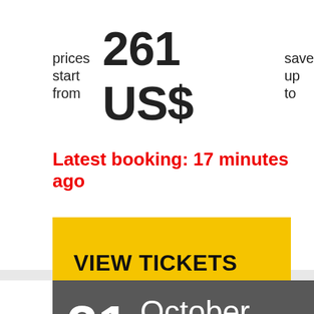prices start from   261 US$   save up to
Latest booking: 17 minutes ago
VIEW TICKETS
21  October  19:00